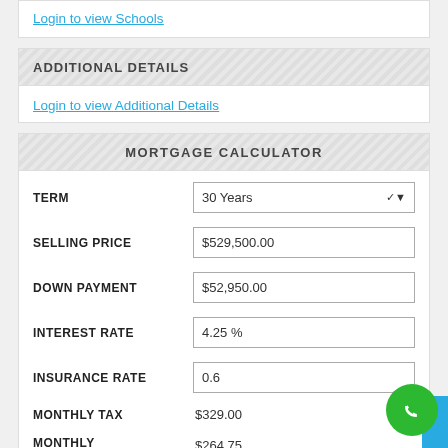Login to view Schools
ADDITIONAL DETAILS
Login to view Additional Details
MORTGAGE CALCULATOR
| Field | Value |
| --- | --- |
| TERM | 30 Years |
| SELLING PRICE | $529,500.00 |
| DOWN PAYMENT | $52,950.00 |
| INTEREST RATE | 4.25 % |
| INSURANCE RATE | 0.6 |
| MONTHLY TAX | $329.00 |
| MONTHLY INSURANCE | $264.75 |